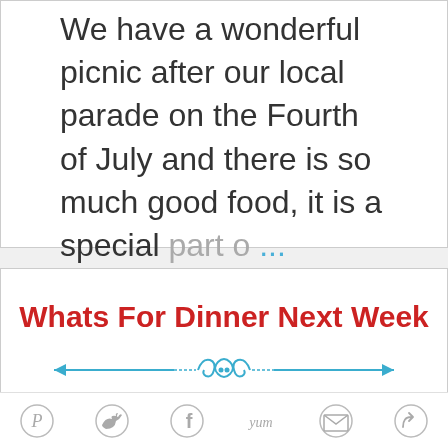We have a wonderful picnic after our local parade on the Fourth of July and there is so much good food, it is a special part o ...
Whats For Dinner Next Week
[Figure (illustration): Decorative blue horizontal divider with ornamental scrollwork design, arrows on each end]
[Figure (photo): Miz Helen's The Menu sign - red background with white text MIZ HELEN'S and partial text THE MENU below, decorative striped border at top]
[Figure (infographic): Social sharing bar with icons: Pinterest (P), Twitter bird, Facebook (f), Yum, Email envelope, and share/circle icon]